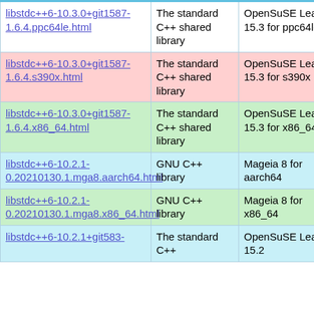| Package | Description | Distribution | Link |
| --- | --- | --- | --- |
| libstdc++6-10.3.0+git1587-1.6.4.ppc64le.html | The standard C++ shared library | OpenSuSE Leap 15.3 for ppc64le | libstdc++6-1.6.4.ppc64... |
| libstdc++6-10.3.0+git1587-1.6.4.s390x.html | The standard C++ shared library | OpenSuSE Leap 15.3 for s390x | libstdc++6-1.6.4.s390x... |
| libstdc++6-10.3.0+git1587-1.6.4.x86_64.html | The standard C++ shared library | OpenSuSE Leap 15.3 for x86_64 | libstdc++6-1.6.4.x86_6... |
| libstdc++6-10.2.1-0.20210130.1.mga8.aarch64.html | GNU C++ library | Mageia 8 for aarch64 | libstdc++6-0.20210130... |
| libstdc++6-10.2.1-0.20210130.1.mga8.x86_64.html | GNU C++ library | Mageia 8 for x86_64 | libstdc++6-0.20210130... |
| libstdc++6-10.2.1+git583-... | The standard C++... | OpenSuSE Leap 15.2... | libstdc++6-... |